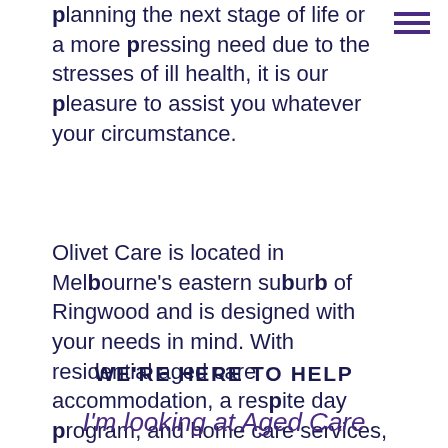planning the next stage of life or a more pressing need due to the stresses of ill health, it is our pleasure to assist you whatever your circumstance.
Olivet Care is located in Melbourne's eastern suburb of Ringwood and is designed with your needs in mind. With residential aged care accommodation, a respite day program, and home care services, we focus on building relationships and promoting independence.
WE'RE HERE TO HELP
I'm looking at Aged Care